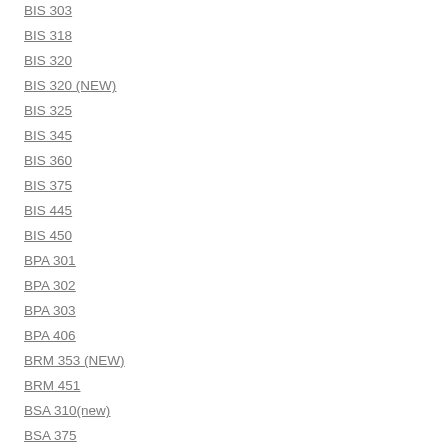BIS 303
BIS 318
BIS 320
BIS 320 (NEW)
BIS 325
BIS 345
BIS 360
BIS 375
BIS 445
BIS 450
BPA 301
BPA 302
BPA 303
BPA 406
BRM 353 (NEW)
BRM 451
BSA 310(new)
BSA 375
BSA 376 (New)